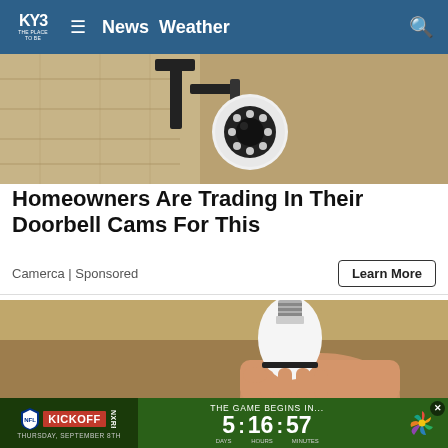KY3 The Place To Be — News  Weather
[Figure (photo): Security camera mounted on exterior stone wall, white spherical camera with LED ring, black metal bracket]
Homeowners Are Trading In Their Doorbell Cams For This
Camerca | Sponsored
Learn More
[Figure (photo): Hand holding a white bulb-shaped security camera device]
[Figure (infographic): NFL Kickoff Thursday September 8th banner with countdown timer: THE GAME BEGINS IN... 5 : 16 : 57 DAYS HOURS MINUTES, NBC peacock logo]